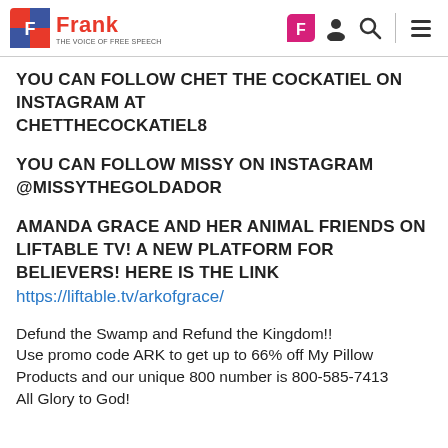Frank
YOU CAN FOLLOW CHET THE COCKATIEL ON INSTAGRAM AT
CHETTHECOCKATIEL8
YOU CAN FOLLOW MISSY ON INSTAGRAM @MISSYTHEGOLDADOR
AMANDA GRACE AND HER ANIMAL FRIENDS ON LIFTABLE TV! A NEW PLATFORM FOR BELIEVERS! HERE IS THE LINK
https://liftable.tv/arkofgrace/
Defund the Swamp and Refund the Kingdom!!
Use promo code ARK to get up to 66% off My Pillow Products and our unique 800 number is 800-585-7413
All Glory to God!